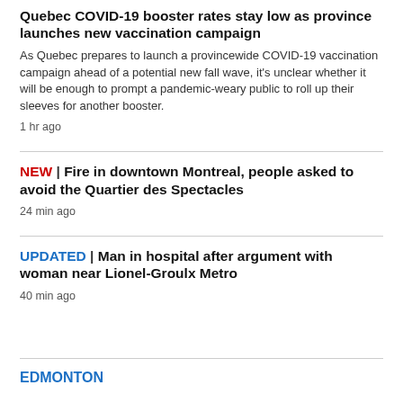Quebec COVID-19 booster rates stay low as province launches new vaccination campaign
As Quebec prepares to launch a provincewide COVID-19 vaccination campaign ahead of a potential new fall wave, it's unclear whether it will be enough to prompt a pandemic-weary public to roll up their sleeves for another booster.
1 hr ago
NEW | Fire in downtown Montreal, people asked to avoid the Quartier des Spectacles
24 min ago
UPDATED | Man in hospital after argument with woman near Lionel-Groulx Metro
40 min ago
EDMONTON